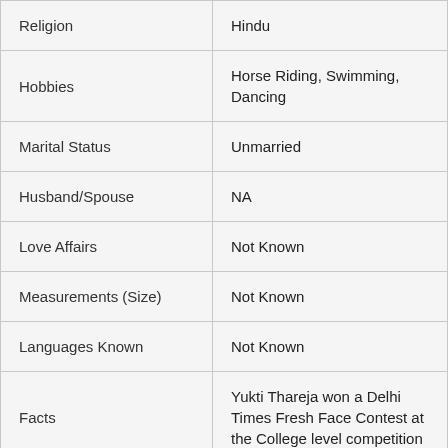|  |  |
| --- | --- |
| Religion | Hindu |
| Hobbies | Horse Riding, Swimming, Dancing |
| Marital Status | Unmarried |
| Husband/Spouse | NA |
| Love Affairs | Not Known |
| Measurements (Size) | Not Known |
| Languages Known | Not Known |
| Facts | Yukti Thareja won a Delhi Times Fresh Face Contest at the College level competition |